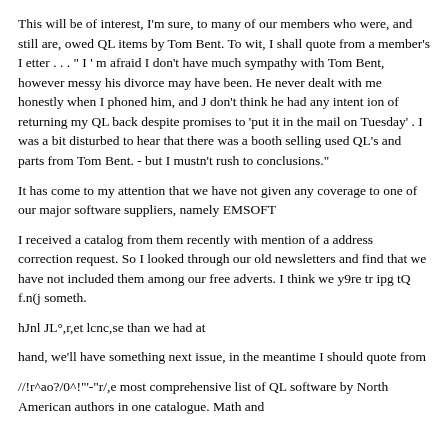This will be of interest, I'm sure, to many of our members who were, and still are, owed QL items by Tom Bent. To wit, I shall quote from a member's I etter . . . " I ' m afraid I don't have much sympathy with Tom Bent, however messy his divorce may have been. He never dealt with me honestly when I phoned him, and J don't think he had any intent ion of returning my QL back despite promises to 'put it in the mail on Tuesday' . I was a bit disturbed to hear that there was a booth selling used QL's and parts from Tom Bent. - but I mustn't rush to conclusions."
It has come to my attention that we have not given any coverage to one of our major software suppliers, namely EMSOFT
I received a catalog from them recently with mention of a address correction request. So I looked through our old newsletters and find that we have not included them among our free adverts. I think we y9re tr ipg tQ f.n(j someth.
hJnl JL°,r,et lcnc,se than we had at
hand, we'll have something next issue, in the meantime I should quote from
//!r^ao?/0^!"'-"r/,e most comprehensive list of QL software by North American authors in one catalogue. Math and